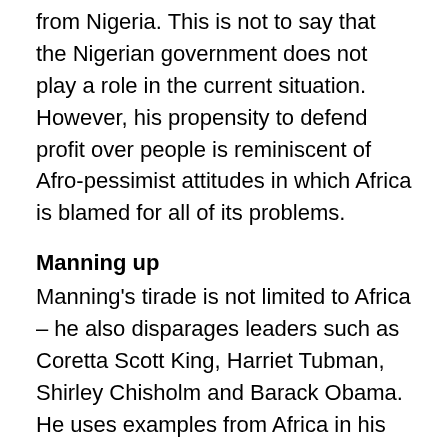from Nigeria. This is not to say that the Nigerian government does not play a role in the current situation. However, his propensity to defend profit over people is reminiscent of Afro-pessimist attitudes in which Africa is blamed for all of its problems.
Manning up
Manning's tirade is not limited to Africa – he also disparages leaders such as Coretta Scott King, Harriet Tubman, Shirley Chisholm and Barack Obama. He uses examples from Africa in his sermon to denigrate African-Americans on the basis that they are descendants of Africa. Although, I understand how an American audience could believe his tirade against Africa. Generally, Americans should be more